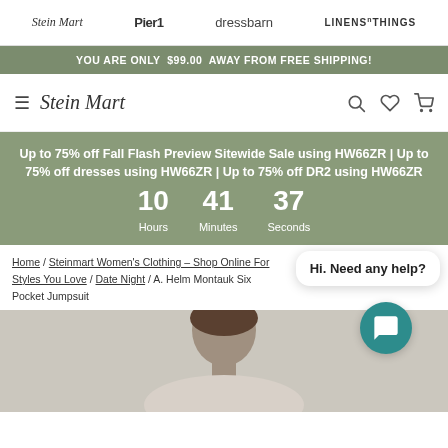Stein Mart | Pier 1 | dressbarn | LINENS n THINGS
YOU ARE ONLY $99.00 AWAY FROM FREE SHIPPING!
[Figure (logo): Stein Mart logo with hamburger menu and navigation icons (search, wishlist, cart)]
Up to 75% off Fall Flash Preview Sitewide Sale using HW66ZR | Up to 75% off dresses using HW66ZR | Up to 75% off DR2 using HW66ZR
10 Hours 41 Minutes 37 Seconds
Home / Steinmart Women's Clothing – Shop Online For Styles You Love / Date Night / A. Helm Montauk Six Pocket Jumpsuit
Hi. Need any help?
[Figure (photo): Product photo showing a model wearing the A. Helm Montauk Six Pocket Jumpsuit, partial view showing head and shoulders]